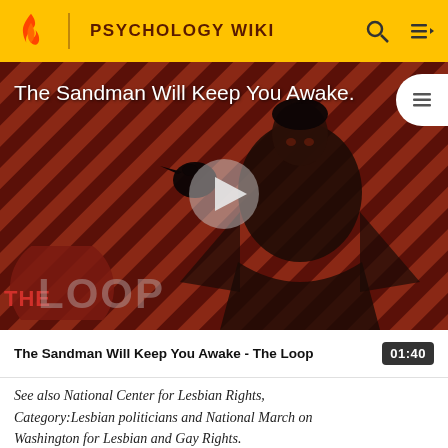PSYCHOLOGY WIKI
[Figure (screenshot): Video thumbnail showing The Sandman character in black costume against a red and black diagonal striped background, with 'THE LOOP' logo watermark overlaid. A play button is centered on the thumbnail. Title text reads 'The Sandman Will Keep You Awake...']
The Sandman Will Keep You Awake - The Loop  01:40
See also National Center for Lesbian Rights, Category:Lesbian politicians and National March on Washington for Lesbian and Gay Rights.